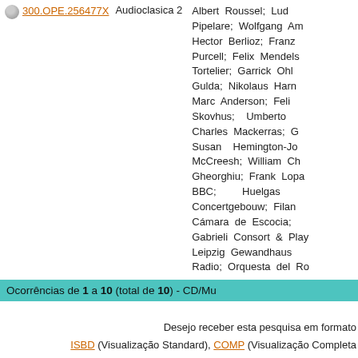300.OPE.256477X    Audioclasica 2    Albert Roussel; Lud... Pipelare; Wolfgang Am... Hector Berlioz; Fran... Purcell; Felix Mendels... Tortelier; Garrick Ohl... Gulda; Nikolaus Harn... Marc Anderson; Feli... Skovhus; Umberto ... Charles Mackerras; G... Susan Hemington-Jo... McCreesh; William Ch... Gheorghiu; Frank Lopa... BBC; Huelgas ... Concertgebouw; Filan... Cámara de Escocia; ... Gabrieli Consort & Play... Leipzig Gewandhaus ... Radio; Orquesta del Ro...
Ocorrências de 1 a 10 (total de 10) - CD/M...
Desejo receber esta pesquisa em formato ISBD (Visualização Standard), COMP (Visualização Completa... Condicionado a um máximo de 20 r...